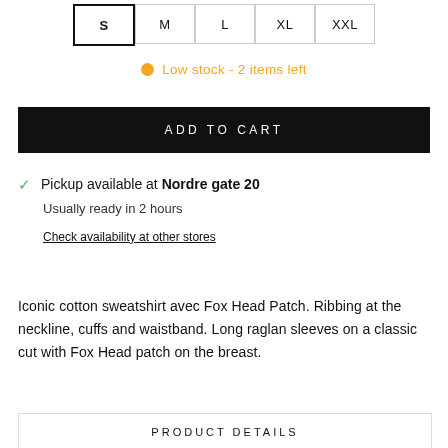S  M  L  XL  XXL
Low stock - 2 items left
ADD TO CART
Pickup available at Nordre gate 20
Usually ready in 2 hours
Check availability at other stores
Iconic cotton sweatshirt avec Fox Head Patch. Ribbing at the neckline, cuffs and waistband. Long raglan sleeves on a classic cut with Fox Head patch on the breast.
PRODUCT DETAILS